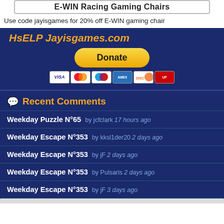[Figure (screenshot): E-WIN Racing Gaming Chairs banner with promo text]
Use code jayisgames for 20% off E-WIN gaming chair
HsELP Jayisgames.com
[Figure (other): PayPal Donate button with payment card icons (Visa, Mastercard, Maestro, American Express, Discover, Union Pay)]
💬 Recent Comments
Weekday Puzzle N°65  by jcfclark  17 hours ago
Weekday Escape N°353  by kksl1der20  2 days ago
Weekday Escape N°353  by jF  2 days ago
Weekday Escape N°353  by Pulsaris  2 days ago
Weekday Escape N°353  by jF  3 days ago